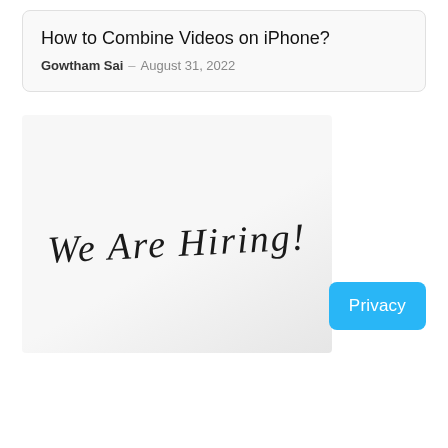How to Combine Videos on iPhone?
Gowtham Sai – August 31, 2022
[Figure (photo): A handwritten sign on white paper reading 'We Are Hiring!' in black marker/pen with expressive lettering]
Privacy